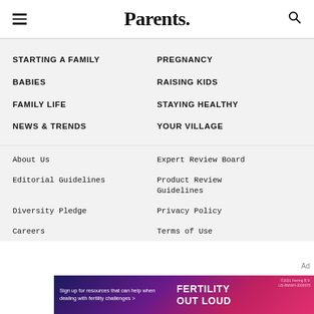Parents.
STARTING A FAMILY
PREGNANCY
BABIES
RAISING KIDS
FAMILY LIFE
STAYING HEALTHY
NEWS & TRENDS
YOUR VILLAGE
About Us
Expert Review Board
Editorial Guidelines
Product Review Guidelines
Diversity Pledge
Privacy Policy
Careers
Terms of Use
[Figure (infographic): Advertisement banner for Fertility Out Loud by Ferring B.V. showing text: Sign up for resources that can help when dealing with fertility challenges > and FERTILITY OUT LOUD in large bold text on a dark gradient background.]